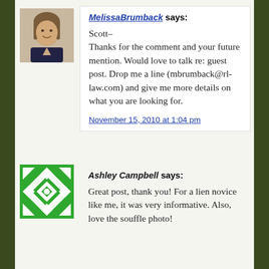[Figure (photo): Headshot of Melissa Brumback, a woman with long straight hair wearing a dark jacket, smiling.]
MelissaBrumback says:

Scott–
Thanks for the comment and your future mention. Would love to talk re: guest post. Drop me a line (mbrumback@rl-law.com) and give me more details on what you are looking for.

November 15, 2010 at 1:04 pm
[Figure (illustration): Green geometric quilt-pattern icon for Ashley Campbell's avatar.]
Ashley Campbell says:

Great post, thank you! For a lien novice like me, it was very informative. Also, love the souffle photo!